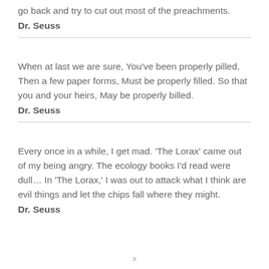go back and try to cut out most of the preachments.
Dr. Seuss
When at last we are sure, You’ve been properly pilled, Then a few paper forms, Must be properly filled. So that you and your heirs, May be properly billed.
Dr. Seuss
Every once in a while, I get mad. ‘The Lorax’ came out of my being angry. The ecology books I’d read were dull… In ‘The Lorax,’ I was out to attack what I think are evil things and let the chips fall where they might.
Dr. Seuss